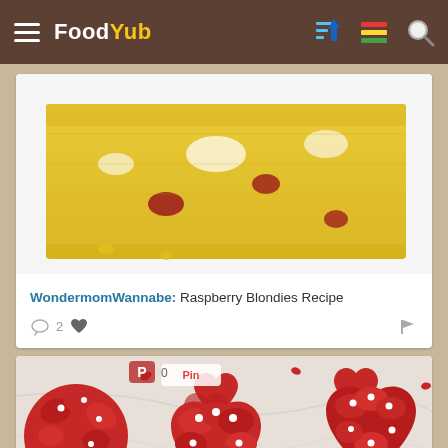FoodYub
[Figure (photo): Close-up photo of yellow raspberry blondie cake squares on a white surface]
WondermomWannabe: Raspberry Blondies Recipe
2 [chat icon] [heart icon] [flag icon]
[Figure (photo): Heart-shaped red frosted cupcakes with white pearl decorations on a marble surface, with a Pinterest Pin button overlay]